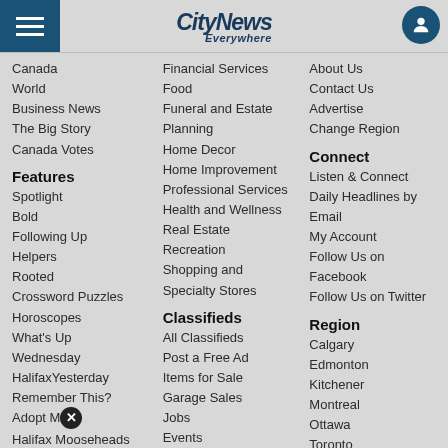CityNews Everywhere
Canada
World
Business News
The Big Story
Canada Votes
Features
Spotlight
Bold
Following Up
Helpers
Rooted
Crossword Puzzles
Horoscopes
What's Up
Wednesday
HalifaxYesterday
Remember This?
Adopt Me
Halifax Mooseheads
Obituaries
Obituaries
Financial Services
Food
Funeral and Estate Planning
Home Decor
Home Improvement
Professional Services
Health and Wellness
Real Estate
Recreation
Shopping and Specialty Stores
Classifieds
All Classifieds
Post a Free Ad
Items for Sale
Garage Sales
Jobs
Events
My Account
Weather
About Us
Contact Us
Advertise
Change Region
Connect
Listen & Connect
Daily Headlines by Email
My Account
Follow Us on Facebook
Follow Us on Twitter
Region
Calgary
Edmonton
Kitchener
Montreal
Ottawa
Toronto
Vancouver
Winnipeg